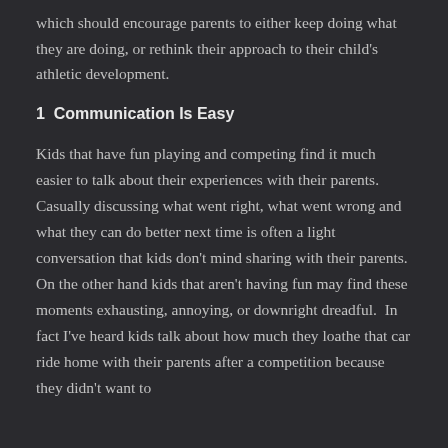which should encourage parents to either keep doing what they are doing, or rethink their approach to their child's athletic development.
1  Communication Is Easy
Kids that have fun playing and competing find it much easier to talk about their experiences with their parents. Casually discussing what went right, what went wrong and what they can do better next time is often a light conversation that kids don't mind sharing with their parents. On the other hand kids that aren't having fun may find these moments exhausting, annoying, or downright dreadful.  In fact I've heard kids talk about how much they loathe that car ride home with their parents after a competition because they didn't want to